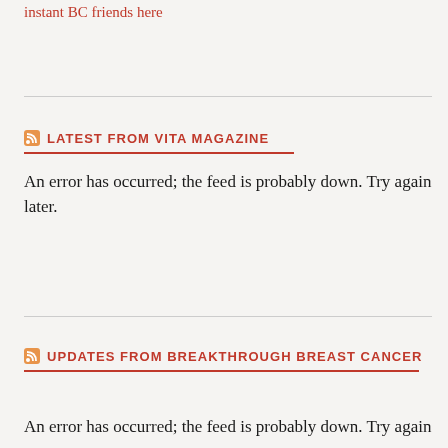instant BC friends here
LATEST FROM VITA MAGAZINE
An error has occurred; the feed is probably down. Try again later.
UPDATES FROM BREAKTHROUGH BREAST CANCER
An error has occurred; the feed is probably down. Try again